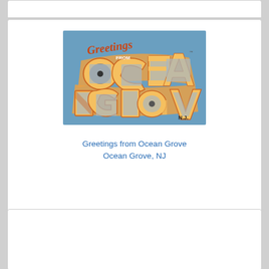[Figure (illustration): Vintage postcard reading 'Greetings from Ocean Grove, N.J.' with large decorative block letters on a blue and orange background, each letter containing a small image of local scenes.]
Greetings from Ocean Grove
Ocean Grove, NJ